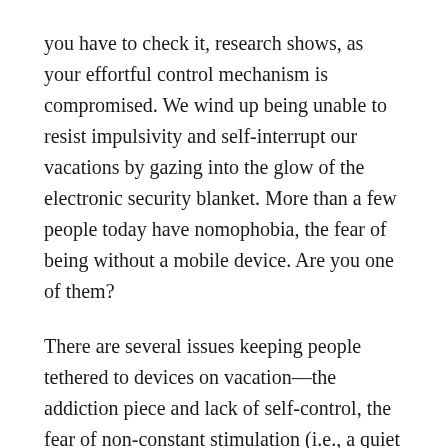you have to check it, research shows, as your effortful control mechanism is compromised. We wind up being unable to resist impulsivity and self-interrupt our vacations by gazing into the glow of the electronic security blanket. More than a few people today have nomophobia, the fear of being without a mobile device. Are you one of them?
There are several issues keeping people tethered to devices on vacation—the addiction piece and lack of self-control, the fear of non-constant stimulation (i.e., a quiet brain), and employers who insist their employees check in on vacation. Let's take them one at a time.